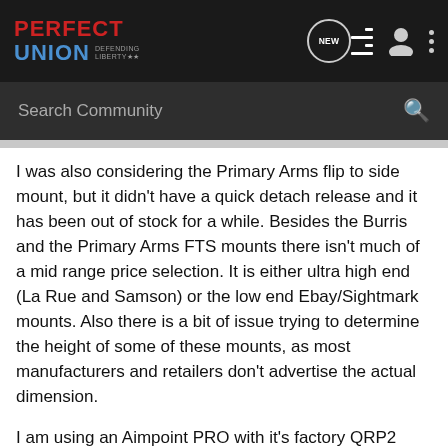Perfect Union - Defending Liberty
Search Community
I was also considering the Primary Arms flip to side mount, but it didn't have a quick detach release and it has been out of stock for a while. Besides the Burris and the Primary Arms FTS mounts there isn't much of a mid range price selection. It is either ultra high end (La Rue and Samson) or the low end Ebay/Sightmark mounts. Also there is a bit of issue trying to determine the height of some of these mounts, as most manufacturers and retailers don't advertise the actual dimension.
I am using an Aimpoint PRO with it's factory QRP2 mount which is an absolute cowitness setup. Fortunately the Burris AR Pivot Ring lines up perfectly, although when I ordered it I wasn't 100% certain this would be the case. At least I avoid having to order another mount or spacer for my Aimpoint. The pivot ring